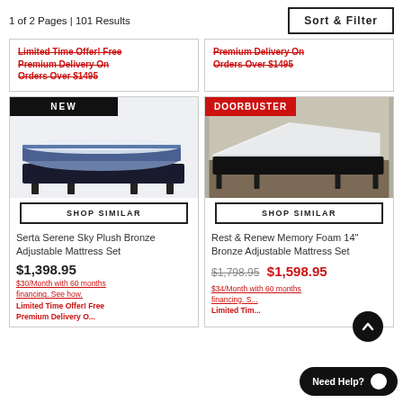1 of 2 Pages | 101 Results
Sort & Filter
Limited Time Offer! Free Premium Delivery On Orders Over $1495
Premium Delivery On Orders Over $1495
[Figure (photo): Serta Serene Sky Plush Bronze Adjustable Mattress Set with NEW badge]
SHOP SIMILAR
Serta Serene Sky Plush Bronze Adjustable Mattress Set
$1,398.95
$30/Month with 60 months financing. See how.
Limited Time Offer! Free Premium Delivery O...
[Figure (photo): Rest & Renew Memory Foam 14" Bronze Adjustable Mattress Set with DOORBUSTER badge]
SHOP SIMILAR
Rest & Renew Memory Foam 14" Bronze Adjustable Mattress Set
$1,798.95 $1,598.95
$34/Month with 60 months financing. S...
Limited Tim...
Need Help?